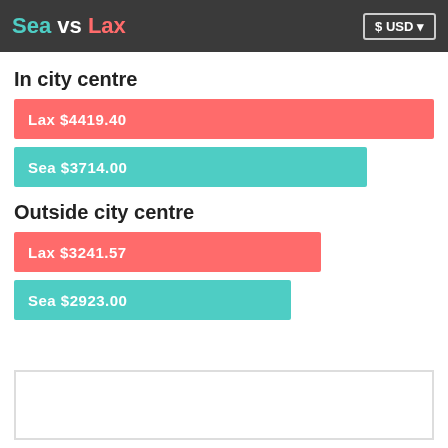Sea vs Lax
In city centre
[Figure (bar-chart): In city centre]
Outside city centre
[Figure (bar-chart): Outside city centre]